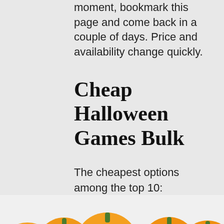moment, bookmark this page and come back in a couple of days. Price and availability change quickly.
Cheap Halloween Games Bulk
The cheapest options among the top 10:
[Figure (photo): A row of cartoon jack-o-lantern pumpkins with various carved faces, with a bestseller badge labeled BESTSELLER NO. 1 in orange at the top left of the image frame.]